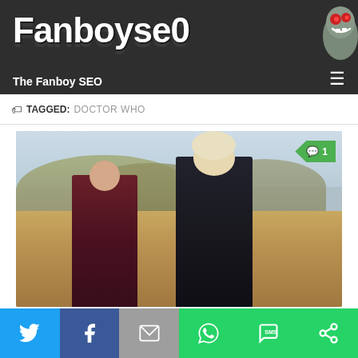Fanboyse0 — The Fanboy SEO
TAGGED: DOCTOR WHO
[Figure (photo): Two characters in medieval-style costumes standing on a sandy beach with dunes. One shorter older woman in dark red/black coat with braided hair, one taller younger person with long white-blonde hair in dark armour. Green comment badge showing '1' in the top right corner.]
GEEK / TV  MAY 6, 2021
[Figure (infographic): Social sharing bar with icons for Twitter, Facebook, Email, WhatsApp, SMS, and More options]